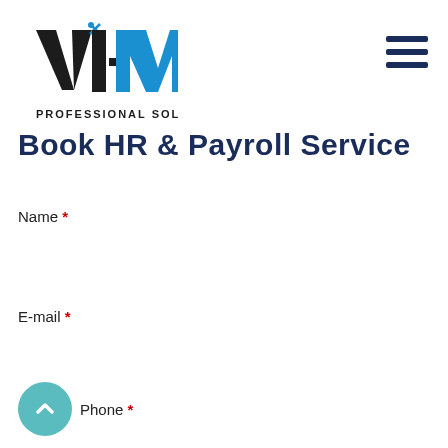[Figure (logo): VI-M Professional Solutions logo with stylized V, I, hyphen, M letters and 'PROFESSIONAL SOLUTIONS' text below]
Book HR & Payroll Service
Name *
E-mail *
Phone *